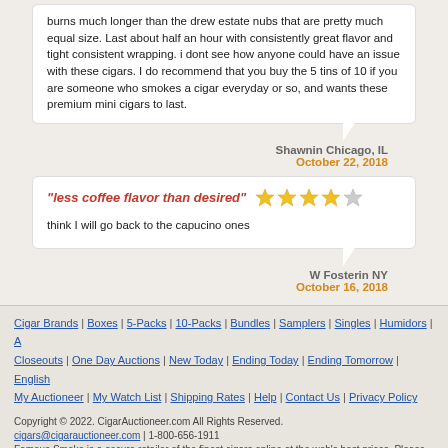burns much longer than the drew estate nubs that are pretty much equal size. Last about half an hour with consistently great flavor and tight consistent wrapping. i dont see how anyone could have an issue with these cigars. I do recommend that you buy the 5 tins of 10 if you are someone who smokes a cigar everyday or so, and wants these premium mini cigars to last.
Shawnin Chicago, IL
October 22, 2018
"less coffee flavor than desired" ★★★★☆
think I will go back to the capucino ones
W Fosterin NY
October 16, 2018
Cigar Brands | Boxes | 5-Packs | 10-Packs | Bundles | Samplers | Singles | Humidors | A Closeouts | One Day Auctions | New Today | Ending Today | Ending Tomorrow | English My Auctioneer | My Watch List | Shipping Rates | Help | Contact Us | Privacy Policy
Copyright © 2022. CigarAuctioneer.com All Rights Reserved.
cigars@cigarauctioneer.com | 1-800-656-1911
Famous Smoke is a secure retailer of the finest cigars online at the web's best prices. Please note that Famous Smoke Shop does not sell tobacco products to anyone under the age of 21 (or the minimum age in your jurisdiction, whichever is higher). Note also that it is unlawful to even attempt to purchase cigars below the minimum age. If you are not of legal age, please do not enter our site. For more information on how to verify age click here.